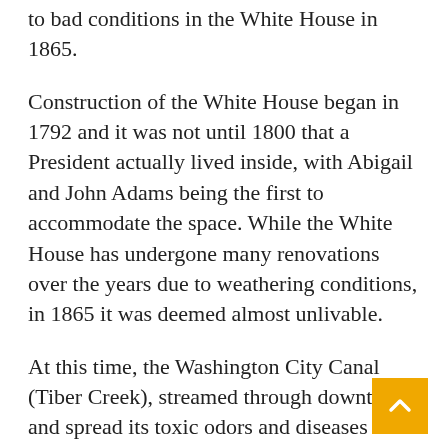to bad conditions in the White House in 1865.
Construction of the White House began in 1792 and it was not until 1800 that a President actually lived inside, with Abigail and John Adams being the first to accommodate the space. While the White House has undergone many renovations over the years due to weathering conditions, in 1865 it was deemed almost unlivable.
At this time, the Washington City Canal (Tiber Creek), streamed through downtown and spread its toxic odors and diseases into the small swampy part of the Potomac just south of the mansion. Because of this, the site of the White House was considered unhealthy, especially during the summer. Major Nathaniel Michler from the Army Corps Engineers was assigned to finding a new site